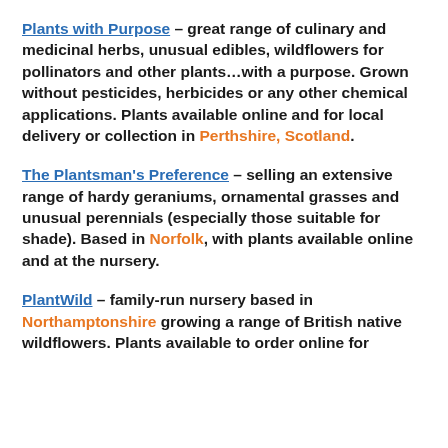Plants with Purpose – great range of culinary and medicinal herbs, unusual edibles, wildflowers for pollinators and other plants…with a purpose. Grown without pesticides, herbicides or any other chemical applications. Plants available online and for local delivery or collection in Perthshire, Scotland.
The Plantsman's Preference – selling an extensive range of hardy geraniums, ornamental grasses and unusual perennials (especially those suitable for shade). Based in Norfolk, with plants available online and at the nursery.
PlantWild – family-run nursery based in Northamptonshire growing a range of British native wildflowers. Plants available to order online for